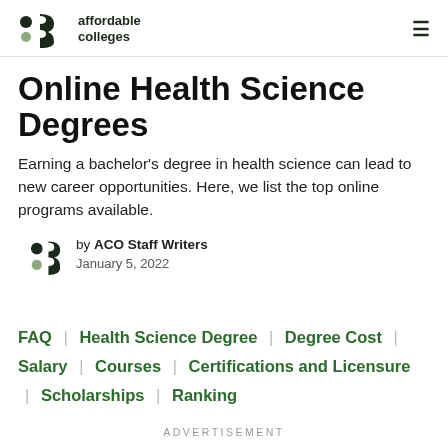affordable colleges
Online Health Science Degrees
Earning a bachelor's degree in health science can lead to new career opportunities. Here, we list the top online programs available.
by ACO Staff Writers
January 5, 2022
FAQ | Health Science Degree | Degree Cost | Salary | Courses | Certifications and Licensure | Scholarships | Ranking
ADVERTISEMENT